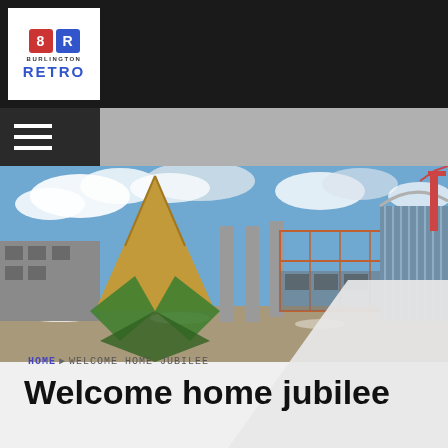[Figure (logo): Burlington Retro logo — red and blue block icons above text 'Burlington' and 'RETRO']
[Figure (photo): Panoramic construction site photo showing a building under construction with steel framing, a large wooden pyramid/diamond structure with green accents on the left, concrete columns, and a crane on the right, under a blue sky with clouds]
HOME ▶ WELCOME HOME JUBILEE
Welcome home jubilee